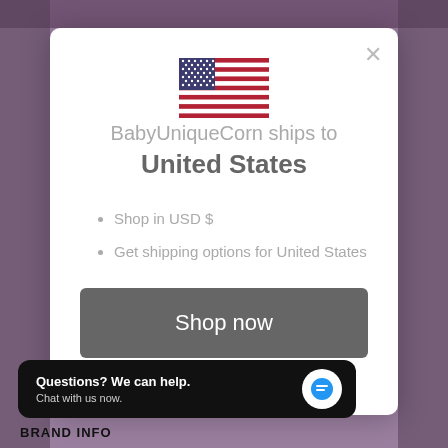[Figure (screenshot): US flag emoji/illustration centered at top of modal]
BabyUniqueCorn ships to
United States
Shop in USD $
Get shipping options for United States
Shop now
shipping country
Questions? We can help.
Chat with us now.
BRAND INFO